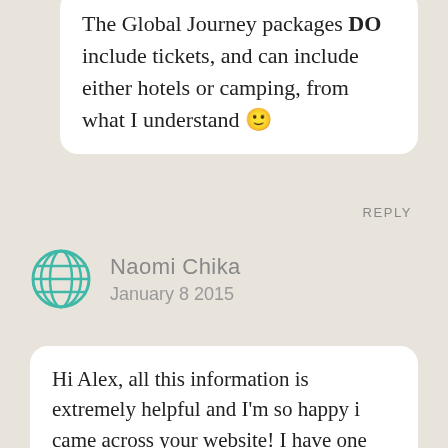The Global Journey packages DO include tickets, and can include either hotels or camping, from what I understand 🙂
REPLY
Naomi Chika
January 8 2015
Hi Alex, all this information is extremely helpful and I'm so happy i came across your website! I have one question about tickets. You said your friend lived in the Cayman Islands. Was the postal address where the tickets would be sent to a different address than your friend's in the Cayman Islands?